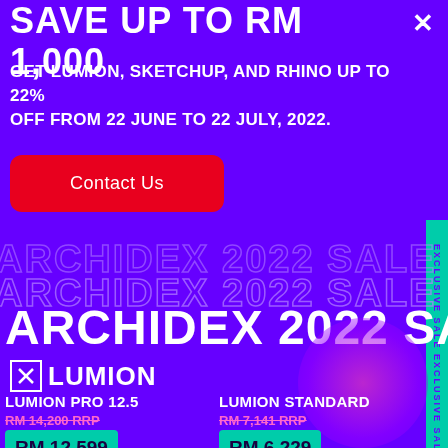SAVE UP TO RM 1,000
GET LUMION, SKETCHUP, AND RHINO UP TO 22% OFF FROM 22 JUNE TO 22 JULY, 2022.
Contact Us
ARCHIDEX 2022 SALE
ARCHIDEX 2022 SALE
ARCHIDEX 2022 SALE
EXCLUSIVE SALE EXCLUSIVE SALE EXCL
LUMION
| Product | RRP | Sale Price |
| --- | --- | --- |
| LUMION PRO 12.5 | RM 14,200 RRP | RM 12,599 |
| LUMION STANDARD | RM 7,141 RRP | RM 6,229 |